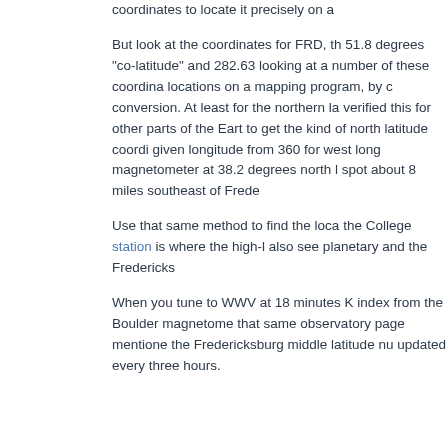coordinates to locate it precisely on a...
But look at the coordinates for FRD, th... 51.8 degrees "co-latitude" and 282.63... looking at a number of these coordina... locations on a mapping program, by c... conversion. At least for the northern la... verified this for other parts of the Eart... to get the kind of north latitude coordi... given longitude from 360 for west long... magnetometer at 38.2 degrees north l... spot about 8 miles southeast of Frede...
Use that same method to find the loca... the College station is where the high-l... also see planetary and the Fredericks...
When you tune to WWV at 18 minutes... K index from the Boulder magnetome... that same observatory page mentione... the Fredericksburg middle latitude nu... updated every three hours.